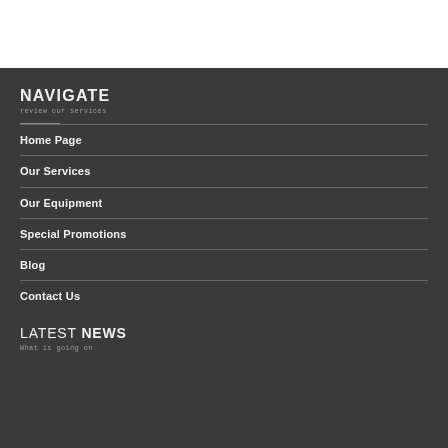NAVIGATE
review our services
Home Page
Our Services
Our Equipment
Special Promotions
Blog
Contact Us
LATEST NEWS
What is going on